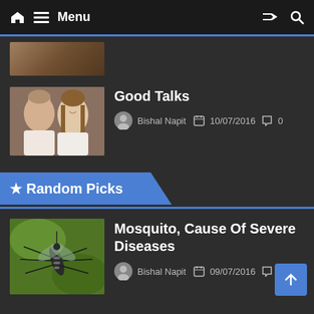Menu
[Figure (photo): Cropped thumbnail image at top - partially visible]
Good Talks
Bishal Napit  10/07/2016  0
★ Random Picks
Mosquito, Cause Of Severe Diseases
Bishal Napit  09/07/2016  0